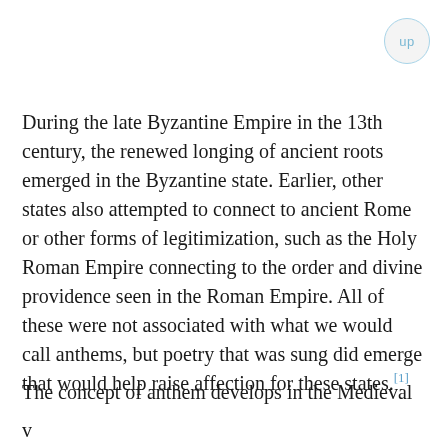[Figure (other): Small circular 'up' navigation button in top-right corner with light blue text and border]
During the late Byzantine Empire in the 13th century, the renewed longing of ancient roots emerged in the Byzantine state. Earlier, other states also attempted to connect to ancient Rome or other forms of legitimization, such as the Holy Roman Empire connecting to the order and divine providence seen in the Roman Empire. All of these were not associated with what we would call anthems, but poetry that was sung did emerge that would help raise affection for these states.[1]
The concept of anthem develops in the Medieval